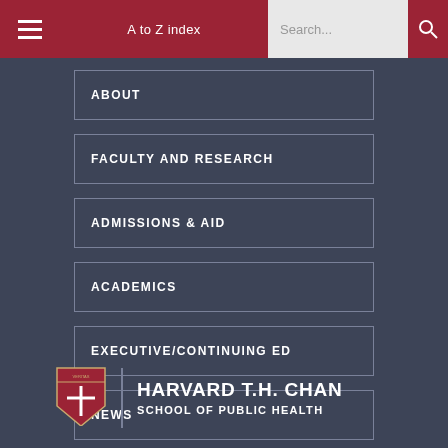A to Z index  Search...
ABOUT
FACULTY AND RESEARCH
ADMISSIONS & AID
ACADEMICS
EXECUTIVE/CONTINUING ED
NEWS
[Figure (logo): Harvard T.H. Chan School of Public Health shield logo with cross and text]
HARVARD T.H. CHAN SCHOOL OF PUBLIC HEALTH